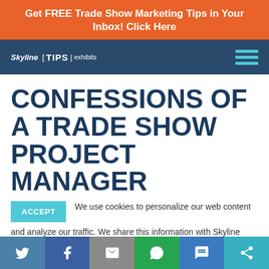Get FREE Trade Show Marketing Tips in Your Inbox! Click Here
[Figure (logo): Skyline E TIPS exhibits navigation logo with hamburger menu]
CONFESSIONS OF A TRADE SHOW PROJECT MANAGER
ACCEPT   We use cookies to personalize our web content and analyze our traffic. We share this information with Skyline dealers who may combine it with information you provided them
[Figure (infographic): Social share bar with Twitter, Facebook, Email, WhatsApp, SMS, and share icons]